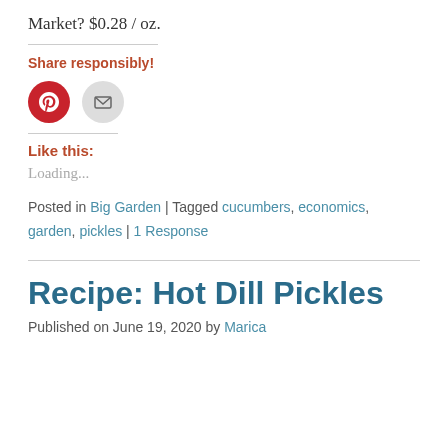Market? $0.28 / oz.
Share responsibly!
[Figure (illustration): Pinterest share button (red circle with P icon) and Email share button (grey circle with envelope icon)]
Like this:
Loading...
Posted in Big Garden | Tagged cucumbers, economics, garden, pickles | 1 Response
Recipe: Hot Dill Pickles
Published on June 19, 2020 by Marica